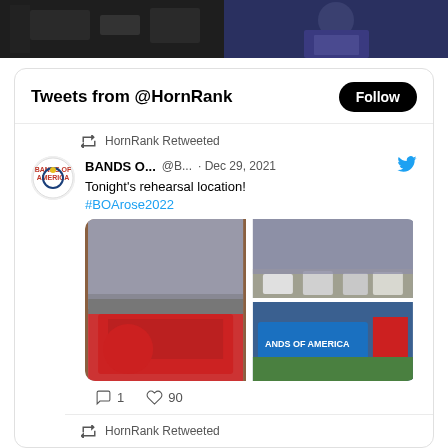[Figure (photo): Two photos at top of page: left shows dark indoor scene with equipment/instruments, right shows person in blue costume/uniform outdoors]
Tweets from @HornRank
Follow
HornRank Retweeted
BANDS O... @B... · Dec 29, 2021
Tonight's rehearsal location! #BOArose2022
[Figure (photo): Three embedded tweet photos: left large shows red building exterior with overcast sky; top right shows marching band members in white uniforms on field; bottom right shows Bands of America banner with person in red costume]
1   90
HornRank Retweeted